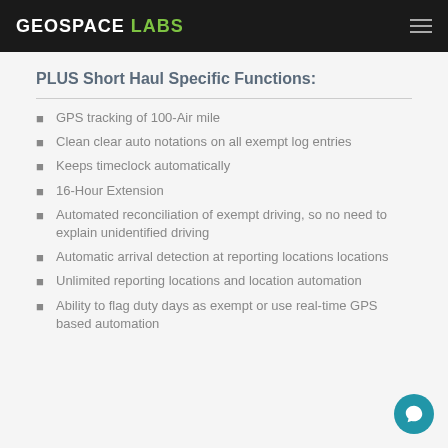GEOSPACE LABS
PLUS Short Haul Specific Functions:
GPS tracking of 100-Air mile
Clean clear auto notations on all exempt log entries
Keeps timeclock automatically
16-Hour Extension
Automated reconciliation of exempt driving, so no need to explain unidentified driving
Automatic arrival detection at reporting locations locations
Unlimited reporting locations and location automation
Ability to flag duty days as exempt or use real-time GPS based automation